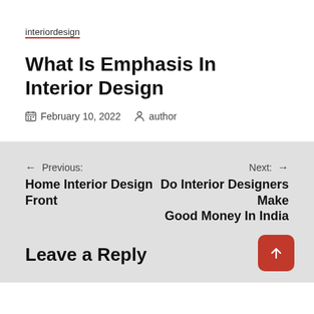interiordesign
What Is Emphasis In Interior Design
February 10, 2022   author
← Previous: Home Interior Design Front
Next: → Do Interior Designers Make Good Money In India
Leave a Reply